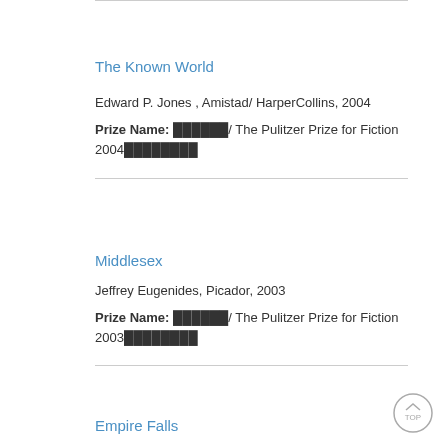The Known World
Edward P. Jones , Amistad/ HarperCollins, 2004
Prize Name: ██████/ The Pulitzer Prize for Fiction 2004████████
Middlesex
Jeffrey Eugenides, Picador, 2003
Prize Name: ██████/ The Pulitzer Prize for Fiction 2003████████
Empire Falls